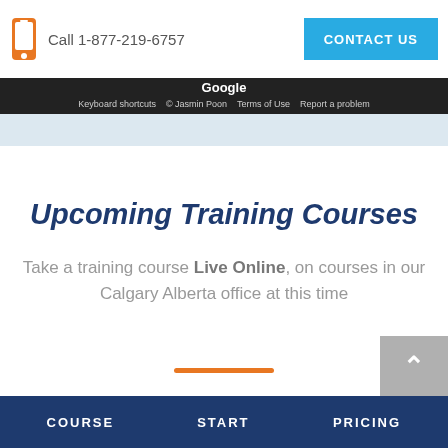Call 1-877-219-6757   CONTACT US
[Figure (screenshot): Google Maps bar with keyboard shortcuts, © Jasmin Poon, Terms of Use, Report a problem links on dark background]
Upcoming Training Courses
Take a training course Live Online, on courses in our Calgary Alberta office at this time